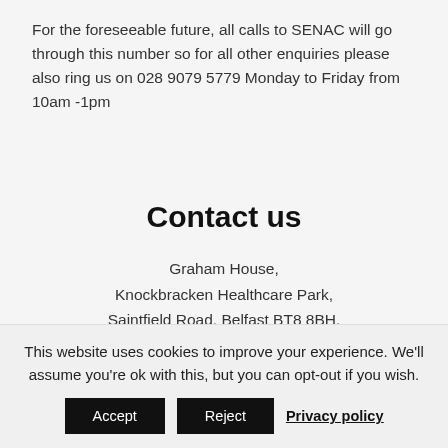For the foreseeable future, all calls to SENAC will go through this number so for all other enquiries please also ring us on 028 9079 5779 Monday to Friday from 10am -1pm
Contact us
Graham House,
Knockbracken Healthcare Park,
Saintfield Road, Belfast BT8 8BH.
Office Enquiries: 028 9070 5654
This website uses cookies to improve your experience. We'll assume you're ok with this, but you can opt-out if you wish.